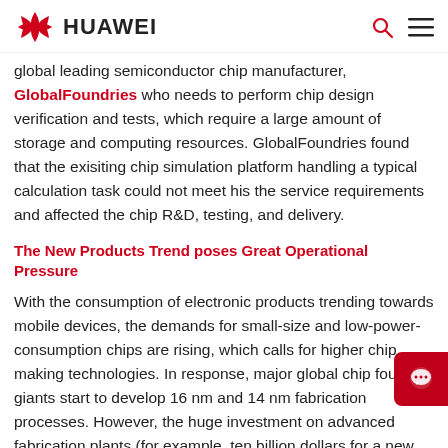HUAWEI
global leading semiconductor chip manufacturer, GlobalFoundries who needs to perform chip design verification and tests, which require a large amount of storage and computing resources. GlobalFoundries found that the exisiting chip simulation platform handling a typical calculation task could not meet his the service requirements and affected the chip R&D, testing, and delivery.
The New Products Trend poses Great Operational Pressure
With the consumption of electronic products trending towards mobile devices, the demands for small-size and low-power-consumption chips are rising, which calls for higher chip making technologies. In response, major global chip foundry giants start to develop 16 nm and 14 nm fabrication processes. However, the huge investment on advanced fabrication plants (for example, ten billion dollars for a new